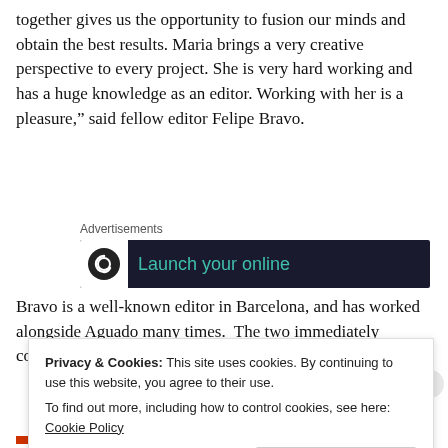together gives us the opportunity to fusion our minds and obtain the best results. Maria brings a very creative perspective to every project. She is very hard working and has a huge knowledge as an editor. Working with her is a pleasure," said fellow editor Felipe Bravo.
[Figure (other): Advertisements banner showing 'Launch your online' text in teal on dark background with a circular logo icon]
Bravo is a well-known editor in Barcelona, and has worked alongside Aguado many times.  The two immediately connected because of their shared passion for film, and make
Privacy & Cookies: This site uses cookies. By continuing to use this website, you agree to their use.
To find out more, including how to control cookies, see here: Cookie Policy
Close and accept